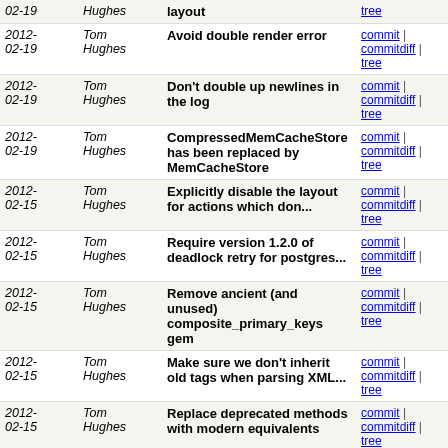| Date | Author | Message | Links |
| --- | --- | --- | --- |
| 2012-02-19 | Tom Hughes | layout | commit | commitdiff | tree |
| 2012-02-19 | Tom Hughes | Avoid double render error | commit | commitdiff | tree |
| 2012-02-19 | Tom Hughes | Don't double up newlines in the log | commit | commitdiff | tree |
| 2012-02-19 | Tom Hughes | CompressedMemCacheStore has been replaced by MemCacheStore | commit | commitdiff | tree |
| 2012-02-15 | Tom Hughes | Explicitly disable the layout for actions which don... | commit | commitdiff | tree |
| 2012-02-15 | Tom Hughes | Require version 1.2.0 of deadlock retry for postgres... | commit | commitdiff | tree |
| 2012-02-15 | Tom Hughes | Remove ancient (and unused) composite_primary_keys gem | commit | commitdiff | tree |
| 2012-02-15 | Tom Hughes | Make sure we don't inherit old tags when parsing XML... | commit | commitdiff | tree |
| 2012-02-15 | Tom Hughes | Replace deprecated methods with modern equivalents | commit | commitdiff | tree |
| 2012-02-15 | Tom Hughes | equire composite_primary_keys 5.0.0 | commit | commitdiff | tree |
| 2012-02-15 | Tom Hughes | Remove backported code now we are using mail 2.4.1 | commit | commitdiff | tree |
| 2012-02-15 | Tom Hughes | Update to rails 3.2.1 | commit | commitdiff | tree |
| 2012-02-15 | Tom Hughes | Remove remnants of old lower case relation member types | commit | commitdiff | tree |
next